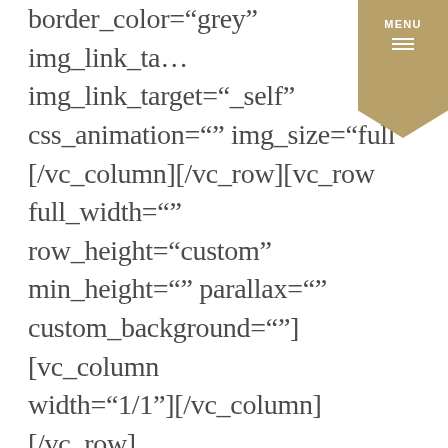border_color="grey" img_link_tar… img_link_target="_self" css_animation="" img_size="full" [/vc_column][/vc_row][vc_row full_width="" row_height="custom" min_height="" parallax="" custom_background=""][vc_column width="1/1"][/vc_column][/vc_row][vc_row full_width="" row_height="custom" min_height="" parallax="" custom_background=""][vc_column width="1/1"][vc_column_text]